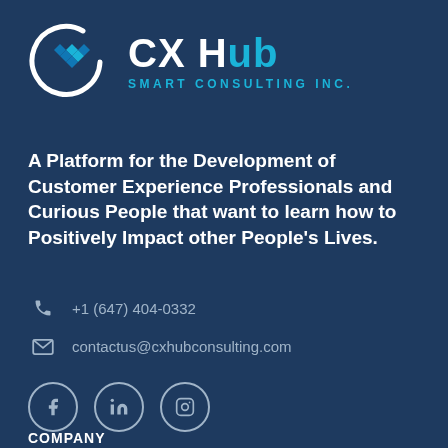[Figure (logo): CX Hub Smart Consulting Inc. logo with circular C graphic with blue diamond pattern and text]
A Platform for the Development of Customer Experience Professionals and Curious People that want to learn how to Positively Impact other People's Lives.
+1 (647) 404-0332
contactus@cxhubconsulting.com
[Figure (infographic): Social media icons: Facebook, LinkedIn, Instagram in circular outlines]
COMPANY